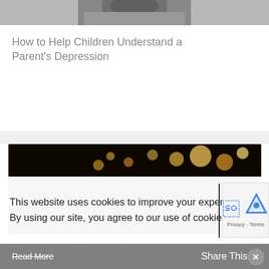[Figure (photo): Partial top-cropped photo of a person, dark tones, appears to be someone sitting]
How to Help Children Understand a Parent's Depression
[Figure (photo): Dark photo of many lit candles/tea lights arranged together in a dark setting]
The Impact of Grief on Relationships
This website uses cookies to improve your experience. By using our site, you agree to our use of cookies.
Read More  Share This